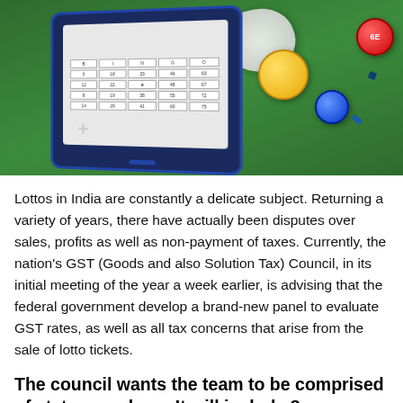[Figure (photo): A tablet/mobile device displaying a bingo card on a green surface, with lottery balls (yellow, red, blue) and crumpled paper flying around it]
Lottos in India are constantly a delicate subject. Returning a variety of years, there have actually been disputes over sales, profits as well as non-payment of taxes. Currently, the nation's GST (Goods and also Solution Tax) Council, in its initial meeting of the year a week earlier, is advising that the federal government develop a brand-new panel to evaluate GST rates, as well as all tax concerns that arise from the sale of lotto tickets.
The council wants the team to be comprised of state preachers. It will include 8 preachers and would certainly be led by the Money Preacher of Maharashtra, Sudhir Mungantiwar